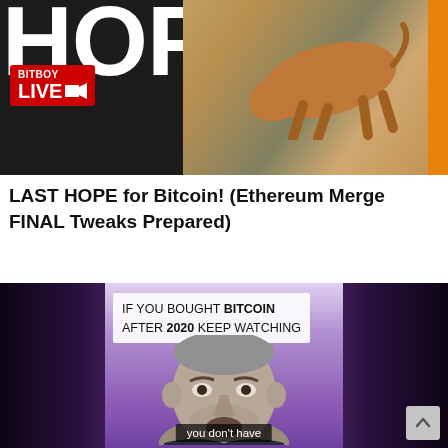[Figure (screenshot): Top banner with 'LAST HOPE' text in large white letters on dark background, Bitboy Live red badge logo on lower left, a bull/cattle running on the right side, green vertical line accent, orange vertical bar on far right]
LAST HOPE for Bitcoin! (Ethereum Merge FINAL Tweaks Prepared)
[Figure (screenshot): Video thumbnail showing a man's face with grey hair looking surprised/shocked against a purple background. A text overlay reads 'IF YOU BOUGHT BITCOIN AFTER 2020 KEEP WATCHING'. Bottom subtitle text reads 'you don't have'. Dark areas on left and right sides. Scroll-to-top button in bottom right corner.]